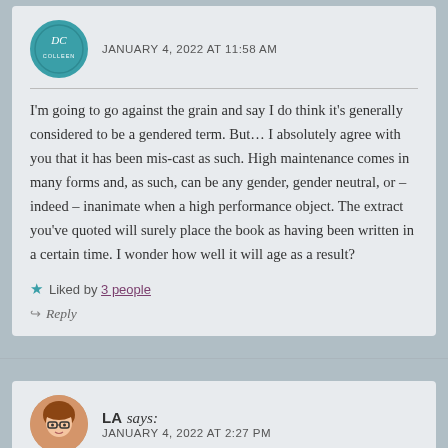JANUARY 4, 2022 AT 11:58 AM
I'm going to go against the grain and say I do think it's generally considered to be a gendered term. But… I absolutely agree with you that it has been mis-cast as such. High maintenance comes in many forms and, as such, can be any gender, gender neutral, or – indeed – inanimate when a high performance object. The extract you've quoted will surely place the book as having been written in a certain time. I wonder how well it will age as a result?
★ Liked by 3 people
Reply
LA says: JANUARY 4, 2022 AT 2:27 PM